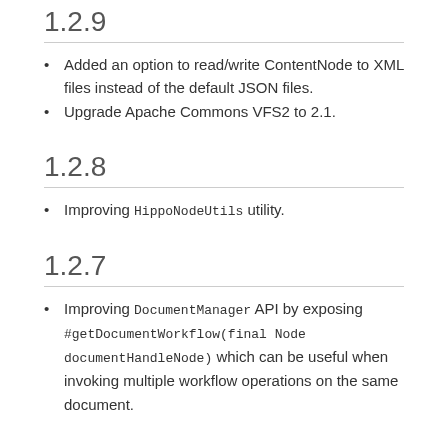1.2.9
Added an option to read/write ContentNode to XML files instead of the default JSON files.
Upgrade Apache Commons VFS2 to 2.1.
1.2.8
Improving HippoNodeUtils utility.
1.2.7
Improving DocumentManager API by exposing #getDocumentWorkflow(final Node documentHandleNode) which can be useful when invoking multiple workflow operations on the same document.
1.2.6